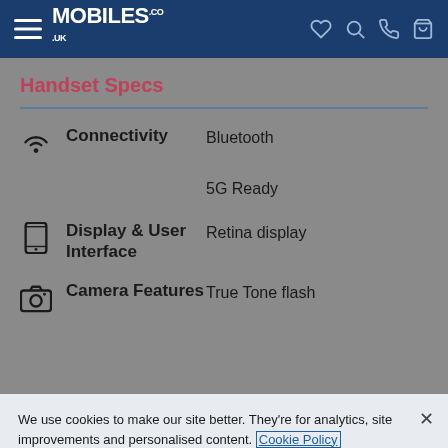MOBILES.CO.UK
Handset Specs
Connectivity — Bluetooth, 5G Ready
Display & User Interface — Retina display
Camera Features — True Tone flash
We use cookies to make our site better. They're for analytics, site improvements and personalised content. Cookie Policy
Cookies Settings | Accept All Cookies